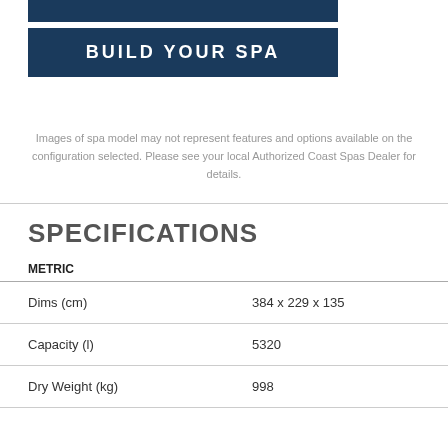[Figure (other): Dark blue banner at top]
[Figure (other): Dark blue BUILD YOUR SPA button/banner]
Images of spa model may not represent features and options available on the configuration selected. Please see your local Authorized Coast Spas Dealer for details.
SPECIFICATIONS
| METRIC |  |
| --- | --- |
| Dims (cm) | 384 x 229 x 135 |
| Capacity (l) | 5320 |
| Dry Weight (kg) | 998 |